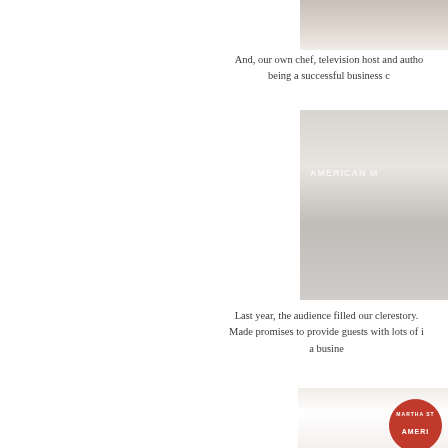[Figure (photo): Partial photo of a person (chef/host) in white, cropped at top of page on the right side]
And, our own chef, television host and autho being a successful business c
[Figure (photo): Photo of an audience in a clerestory space, with a sign reading AMERICAN M visible in background]
Last year, the audience filled our clerestory. Made promises to provide guests with lots of i a busine
[Figure (photo): Photo with a Martha Stewart American Made circular logo/badge visible]